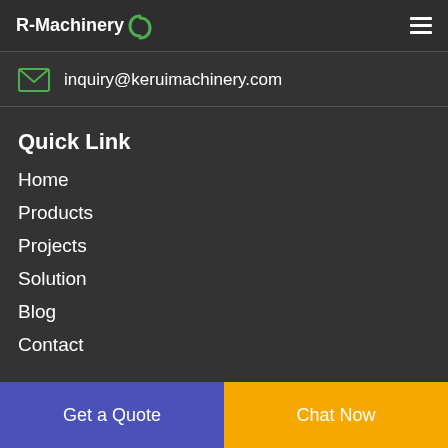R-Machinery
inquiry@keruimachinery.com
Quick Link
Home
Products
Projects
Solution
Blog
Contact
Get a Quote
Chat Now